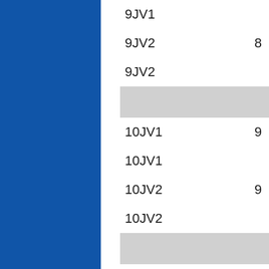[Figure (other): Blue vertical bar on left side of page]
| Code | Value |
| --- | --- |
| 9JV1 |  |
| 9JV2 | 8 |
| 9JV2 |  |
|  |  |
| 10JV1 | 9 |
| 10JV1 |  |
| 10JV2 | 9 |
| 10JV2 |  |
|  |  |
| 12V1 | 12 |